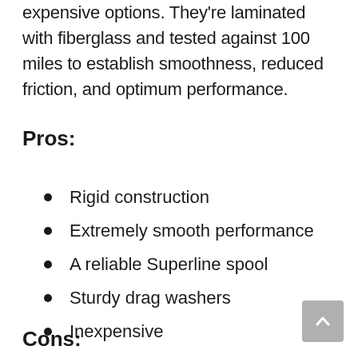expensive options. They're laminated with fiberglass and tested against 100 miles to establish smoothness, reduced friction, and optimum performance.
Pros:
Rigid construction
Extremely smooth performance
A reliable Superline spool
Sturdy drag washers
Inexpensive
Cons: